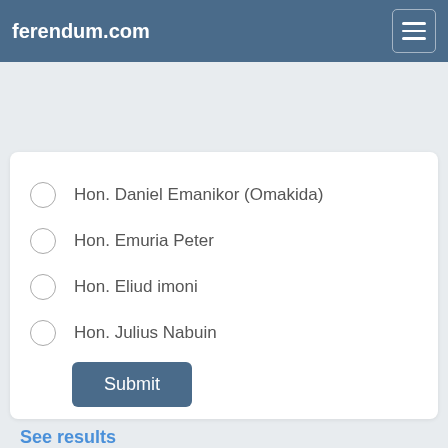ferendum.com
Hon. Daniel Emanikor (Omakida)
Hon. Emuria Peter
Hon. Eliud imoni
Hon. Julius Nabuin
Submit
See results